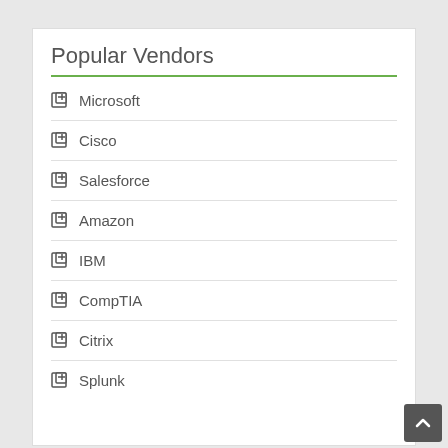Popular Vendors
Microsoft
Cisco
Salesforce
Amazon
IBM
CompTIA
Citrix
Splunk